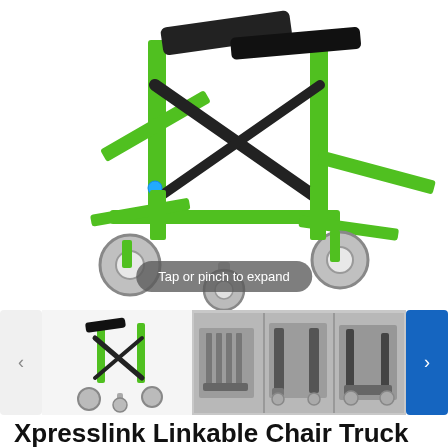[Figure (photo): Green Xpresslink Linkable Chair Truck product photo showing the folding metal frame with black handles and caster wheels, on white background. Overlay text: 'Tap or pinch to expand']
[Figure (photo): Thumbnail strip showing: (1) green chair truck side view thumbnail, (2) composite gray-toned product images showing chairs loaded on truck from multiple angles]
Xpresslink Linkable Chair Truck
(0)    Write a review    Ask a question